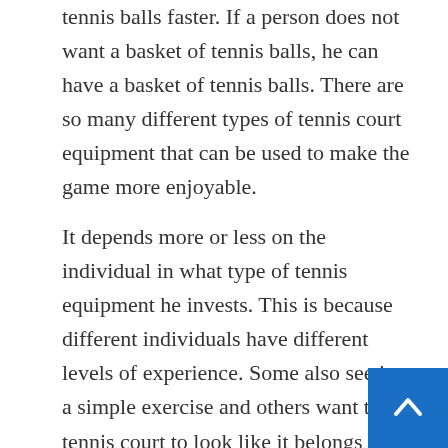tennis balls faster. If a person does not want a basket of tennis balls, he can have a basket of tennis balls. There are so many different types of tennis court equipment that can be used to make the game more enjoyable.
It depends more or less on the individual in what type of tennis equipment he invests. This is because different individuals have different levels of experience. Some also see it as a simple exercise and others want their tennis court to look like it belongs in a professional game. There is nothing wrong in it. It is a considerable investment, but well worth it for those who r